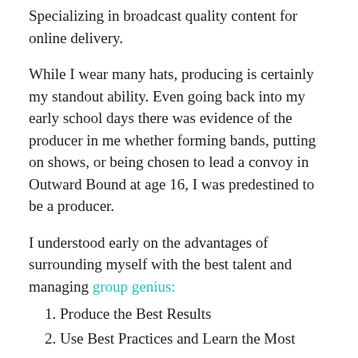Specializing in broadcast quality content for online delivery.
While I wear many hats, producing is certainly my standout ability. Even going back into my early school days there was evidence of the producer in me whether forming bands, putting on shows, or being chosen to lead a convoy in Outward Bound at age 16, I was predestined to be a producer.
I understood early on the advantages of surrounding myself with the best talent and managing group genius:
1. Produce the Best Results
2. Use Best Practices and Learn the Most